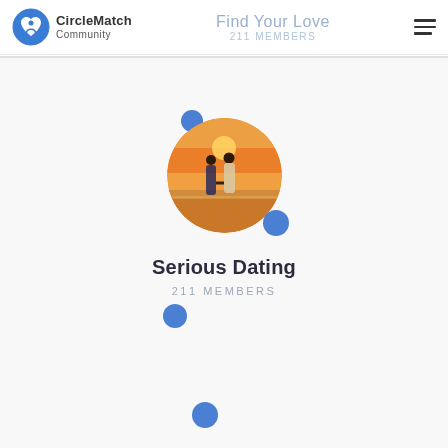CircleMatch Community | Find Your Love | 211 MEMBERS
[Figure (photo): Circular profile photo of a couple holding hands on a beach at sunset, with blue decorative dots around the circle]
Serious Dating
211 MEMBERS
[Figure (illustration): Two small blue decorative dots at the bottom of the page]